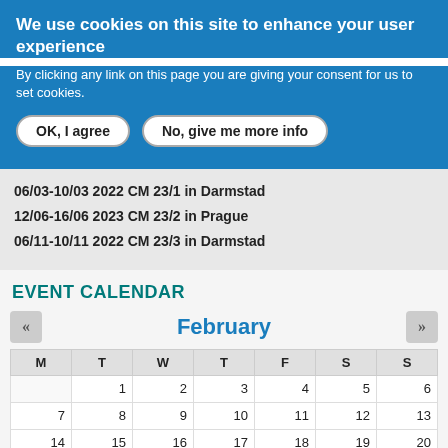We use cookies on this site to enhance your user experience
By clicking any link on this page you are giving your consent for us to set cookies.
OK, I agree | No, give me more info
06/03-10/03 2022 CM 23/1 in Darmstad
12/06-16/06 2023 CM 23/2 in Prague
06/11-10/11 2022 CM 23/3 in Darmstad
EVENT CALENDAR
| M | T | W | T | F | S | S |
| --- | --- | --- | --- | --- | --- | --- |
|  | 1 | 2 | 3 | 4 | 5 | 6 |
| 7 | 8 | 9 | 10 | 11 | 12 | 13 |
| 14 | 15 | 16 | 17 | 18 | 19 | 20 |
| 21 | 22 | 23 | 24 | 25 | 26 | 27 |
| 28 |  |  |  |  |  |  |